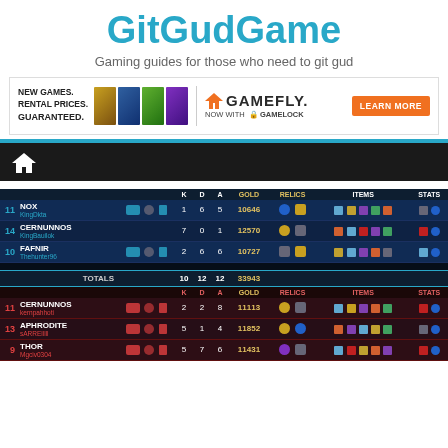GitGudGame
Gaming guides for those who need to git gud
[Figure (screenshot): GameFly advertisement banner with game box images and Learn More button]
[Figure (screenshot): Dark navigation bar with home icon]
[Figure (screenshot): SMITE scoreboard screenshot showing two teams. Ally team: 11 NOX (KingDkta) 1/6/5 10646 gold, 14 CERNUNNOS (KingBauilok) 7/0/1 12570 gold, 10 FAFNIR (Thehunter96) 2/6/6 10727 gold. TOTALS: 10 12 12 33943. Enemy team: 11 CERNUNNOS (kernpahhoti) 2/2/8 11113 gold, 13 APHRODITE (sARRElllll) 5/1/4 11852 gold, 9 THOR (Mgciv0304) 5/7/6 11431 gold.]